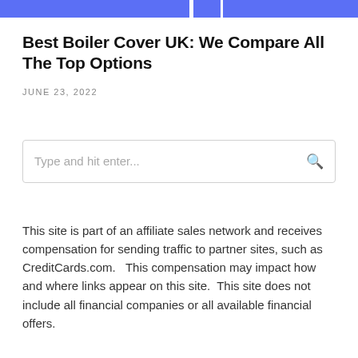Best Boiler Cover UK: We Compare All The Top Options
JUNE 23, 2022
Type and hit enter...
This site is part of an affiliate sales network and receives compensation for sending traffic to partner sites, such as CreditCards.com.  This compensation may impact how and where links appear on this site.  This site does not include all financial companies or all available financial offers.